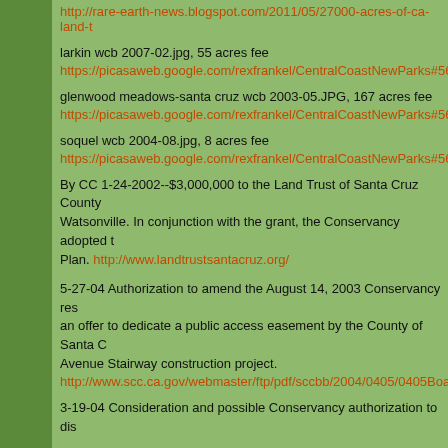http://rare-earth-news.blogspot.com/2011/05/27000-acres-of-ca-land-t
larkin wcb 2007-02.jpg, 55 acres fee
https://picasaweb.google.com/rexfrankel/CentralCoastNewParks#5660
glenwood meadows-santa cruz wcb 2003-05.JPG, 167 acres fee
https://picasaweb.google.com/rexfrankel/CentralCoastNewParks#5660
soquel wcb 2004-08.jpg, 8 acres fee
https://picasaweb.google.com/rexfrankel/CentralCoastNewParks#5660
By CC 1-24-2002--$3,000,000 to the Land Trust of Santa Cruz County Watsonville. In conjunction with the grant, the Conservancy adopted t Plan. http://www.landtrustsantacruz.org/
5-27-04 Authorization to amend the August 14, 2003 Conservancy res an offer to dedicate a public access easement by the County of Santa C Avenue Stairway construction project. http://www.scc.ca.gov/webmaster/ftp/pdf/sccbb/2004/0405/0405Board
3-19-04 Consideration and possible Conservancy authorization to dis